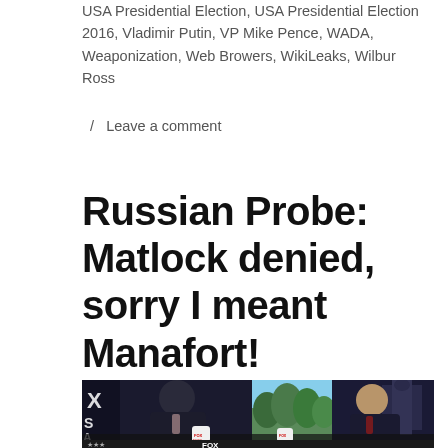USA Presidential Election, USA Presidential Election 2016, Vladimir Putin, VP Mike Pence, WADA, Weaponization, Web Browers, WikiLeaks, Wilbur Ross
/ Leave a comment
Russian Probe: Matlock denied, sorry I meant Manafort!
[Figure (photo): Fox News screenshot showing two men seated at a table in a TV studio interview setting. One man on the left in a dark suit with pink tie, another on the right in a dark suit with red tie gesturing with hands. Fox News coffee mugs visible on the table. Capitol building visible in background on right side.]